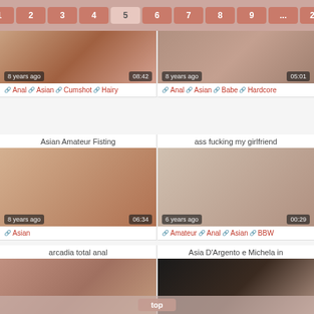Pagination: « 1 2 3 4 5 6 7 8 9 ... 29 »
[Figure (screenshot): Video thumbnail top-left, 8 years ago, duration 08:42]
🔗 Anal 🔗 Asian 🔗 Cumshot 🔗 Hairy
[Figure (screenshot): Video thumbnail top-right, 8 years ago, duration 05:01]
🔗 Anal 🔗 Asian 🔗 Babe 🔗 Hardcore
Asian Amateur Fisting
[Figure (screenshot): Video thumbnail, 8 years ago, duration 06:34]
🔗 Asian
ass fucking my girlfriend
[Figure (screenshot): Video thumbnail, 6 years ago, duration 00:29]
🔗 Amateur 🔗 Anal 🔗 Asian 🔗 BBW
arcadia total anal
[Figure (screenshot): Video thumbnail, 8 years ago, duration 15:18 (partially visible)]
Asia D'Argento e Michela in
[Figure (screenshot): Video thumbnail, duration 51:03 (partially visible)]